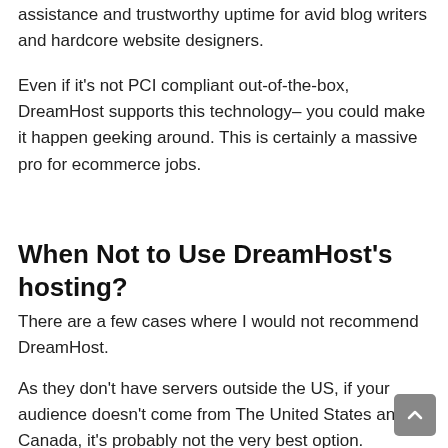assistance and trustworthy uptime for avid blog writers and hardcore website designers.
Even if it's not PCI compliant out-of-the-box, DreamHost supports this technology– you could make it happen geeking around. This is certainly a massive pro for ecommerce jobs.
When Not to Use DreamHost's hosting?
There are a few cases where I would not recommend DreamHost.
As they don't have servers outside the US, if your audience doesn't come from The United States and Canada, it's probably not the very best option. Bluehost, SiteGround o